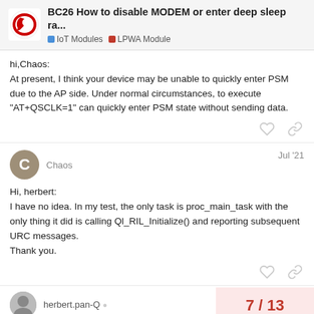BC26 How to disable MODEM or enter deep sleep ra... | IoT Modules | LPWA Module
hi,Chaos:
At present, I think your device may be unable to quickly enter PSM due to the AP side. Under normal circumstances, to execute "AT+QSCLK=1" can quickly enter PSM state without sending data.
Chaos   Jul '21
Hi, herbert:
I have no idea. In my test, the only task is proc_main_task with the only thing it did is calling Ql_RIL_Initialize() and reporting subsequent URC messages.
Thank you.
herbert.pan-Q
7 / 13